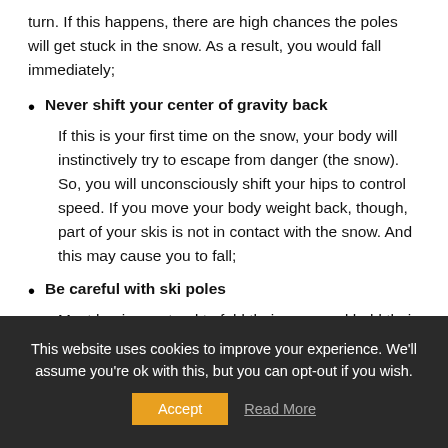turn. If this happens, there are high chances the poles will get stuck in the snow. As a result, you would fall immediately;
Never shift your center of gravity back
If this is your first time on the snow, your body will instinctively try to escape from danger (the snow). So, you will unconsciously shift your hips to control speed. If you move your body weight back, though, part of your skis is not in contact with the snow. And this may cause you to fall;
Be careful with ski poles
Most beginners tend to fold their arms and hold their ski
This website uses cookies to improve your experience. We'll assume you're ok with this, but you can opt-out if you wish. Accept Read More